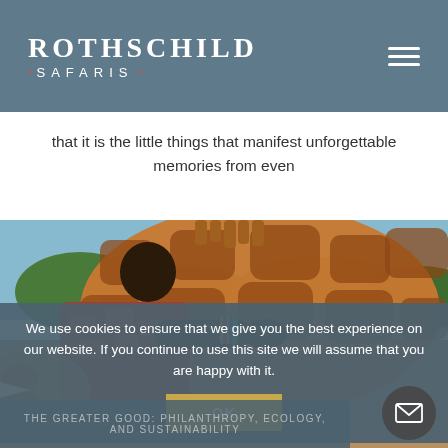ROTHSCHILD · SAFARIS ·
that it is the little things that manifest unforgettable memories from even
[Figure (photo): Close-up photograph of a person wearing a red patterned garment and colorful beaded bracelet hugging or touching a giraffe's neck, with acacia trees and blue sky in the background]
We use cookies to ensure that we give you the best experience on our website. If you continue to use this site we will assume that you are happy with it.
OK
THE GREATER GOOD: Philanthropy, Ecology, and Sustainability